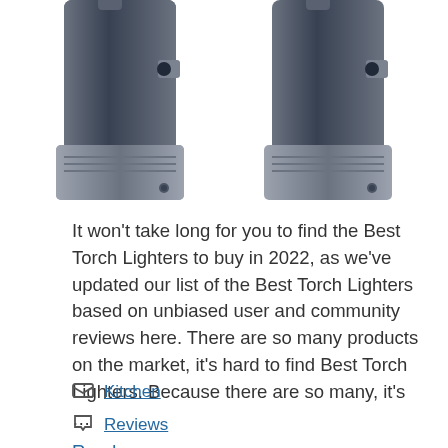[Figure (photo): Two torch lighters shown side by side — dark blue/gray body with silver metallic accents and trigger mechanisms, partially cropped at top]
It won't take long for you to find the Best Torch Lighters to buy in 2022, as we've updated our list of the Best Torch Lighters based on unbiased user and community reviews here. There are so many products on the market, it's hard to find Best Torch Lighters. Because there are so many, it's …
Read more
Kitchen
Reviews